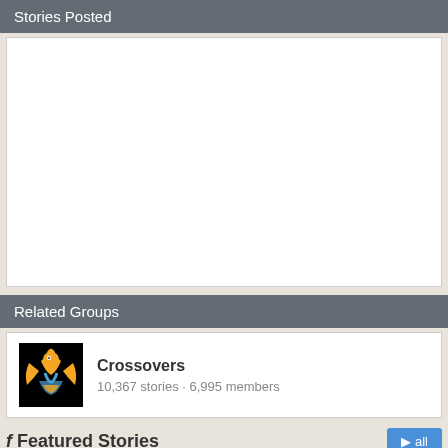Stories Posted
[Figure (other): Empty white content box for stories posted]
Related Groups
Crossovers
10,367 stories · 6,995 members
Featured Stories